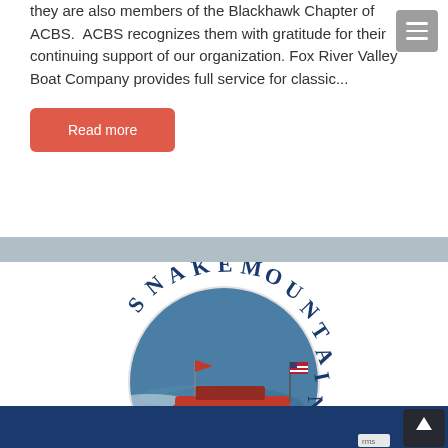they are also members of the Blackhawk Chapter of ACBS.  ACBS recognizes them with gratitude for their continuing support of our organization. Fox River Valley Boat Company provides full service for classic...
Read more
[Figure (logo): Snake Mountain logo — circular image of a classic red wooden speedboat on choppy water with flags, surrounded by arched text 'SNAKE MOUNTAIN' in dark blue. Blue banner bar at bottom.]